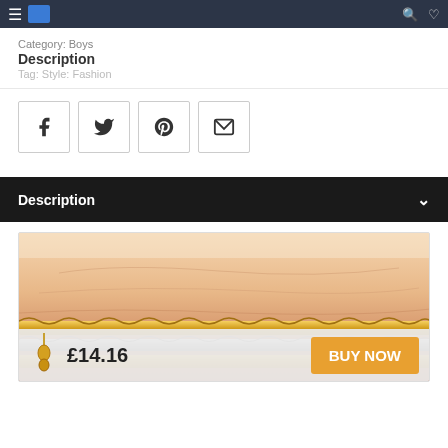Navigation bar with logo and icons
Category: Boys
Description
Tag: Style: Fashion
[Figure (other): Social share buttons: Facebook, Twitter, Pinterest, Email]
Description
[Figure (photo): Close-up photo of a hand wearing gold and silver chain bracelets]
£14.16
BUY NOW